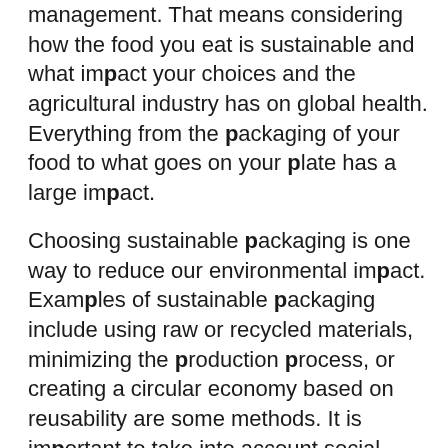management. That means considering how the food you eat is sustainable and what impact your choices and the agricultural industry has on global health. Everything from the packaging of your food to what goes on your plate has a large impact.
Choosing sustainable packaging is one way to reduce our environmental impact. Examples of sustainable packaging include using raw or recycled materials, minimizing the production process, or creating a circular economy based on reusability are some methods. It is important to take into account social factors. For example, plant-based packaging might mean clearing out forests. There are several different techniques or products that can be considered eco-friendly. Some examples are boxes that are made of recycled paper